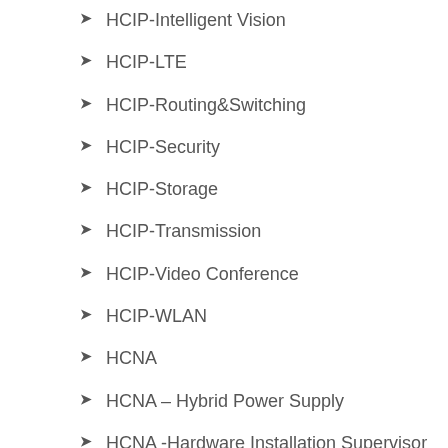HCIP-Intelligent Vision
HCIP-LTE
HCIP-Routing&Switching
HCIP-Security
HCIP-Storage
HCIP-Transmission
HCIP-Video Conference
HCIP-WLAN
HCNA
HCNA – Hybrid Power Supply
HCNA -Hardware Installation Supervisor
HCNA WLAN
HCNA – Cloud Solutions Architect
HCNA – Telecommunication Equipment